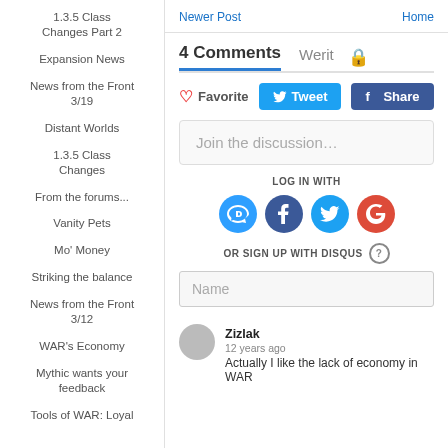1.3.5 Class Changes Part 2
Expansion News
News from the Front 3/19
Distant Worlds
1.3.5 Class Changes
From the forums...
Vanity Pets
Mo' Money
Striking the balance
News from the Front 3/12
WAR's Economy
Mythic wants your feedback
Tools of WAR: Loyal
Newer Post | Home
4 Comments   Werit   🔒
♡ Favorite   Tweet   f Share
Join the discussion…
LOG IN WITH
OR SIGN UP WITH DISQUS ?
Name
Zizlak
12 years ago
Actually I like the lack of economy in WAR